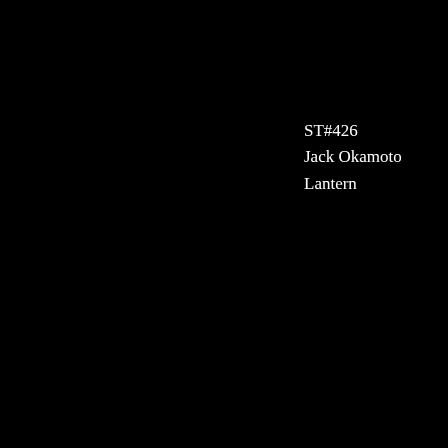ST#426
Jack Okamoto
Lantern
ST#433
Jack Okamoto
lantern